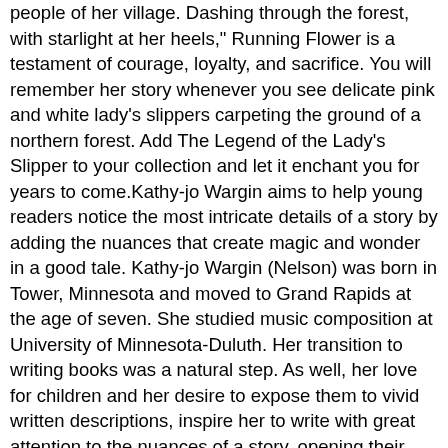people of her village. Dashing through the forest, with starlight at her heels," Running Flower is a testament of courage, loyalty, and sacrifice. You will remember her story whenever you see delicate pink and white lady's slippers carpeting the ground of a northern forest. Add The Legend of the Lady's Slipper to your collection and let it enchant you for years to come.Kathy-jo Wargin aims to help young readers notice the most intricate details of a story by adding the nuances that create magic and wonder in a good tale. Kathy-jo Wargin (Nelson) was born in Tower, Minnesota and moved to Grand Rapids at the age of seven. She studied music composition at University of Minnesota-Duluth. Her transition to writing books was a natural step. As well, her love for children and her desire to expose them to vivid written descriptions, inspire her to write with great attention to the nuances of a story, opening their minds to see all the possibilities in a scene or situation.Gijsbert van Frankenhuyzen captures his lifelong connection to nature and wildlife. His talent for mural painting can be seen in several museums, including Fort Mackinac on Mackinac Island, Michigan. Born in the Netherlands, Gijsbert studied at the Royal Academy of Arts in Holland and immigrated to the United States in 1976. In 1993, after 17 years as the Art Director for the Michigan Natural Resources Magazine, he ventured out on his own. His highest professional achievement comes from being selected numerous times into the internationally renowned Leigh Yawkey Woodson Birds in Art exhibition.